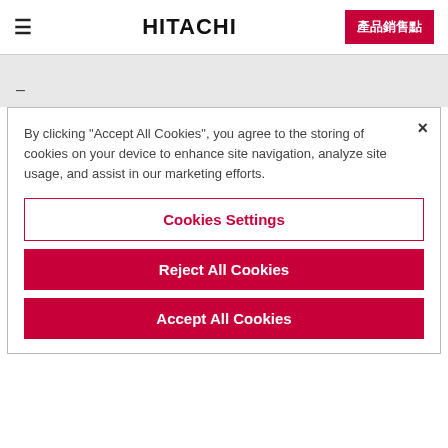≡  HITACHI  產品銷售點
–
By clicking “Accept All Cookies”, you agree to the storing of cookies on your device to enhance site navigation, analyze site usage, and assist in our marketing efforts.
Cookies Settings
Reject All Cookies
Accept All Cookies